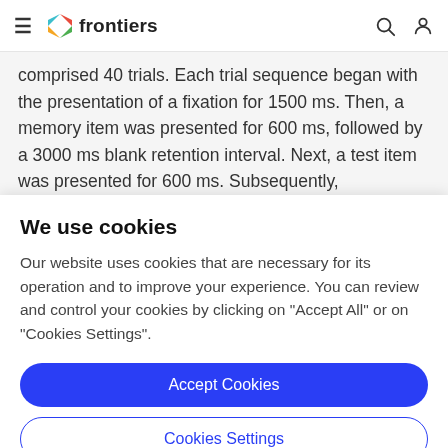frontiers
comprised 40 trials. Each trial sequence began with the presentation of a fixation for 1500 ms. Then, a memory item was presented for 600 ms, followed by a 3000 ms blank retention interval. Next, a test item was presented for 600 ms. Subsequently, participants were instructed to
We use cookies
Our website uses cookies that are necessary for its operation and to improve your experience. You can review and control your cookies by clicking on "Accept All" or on "Cookies Settings".
Accept Cookies
Cookies Settings